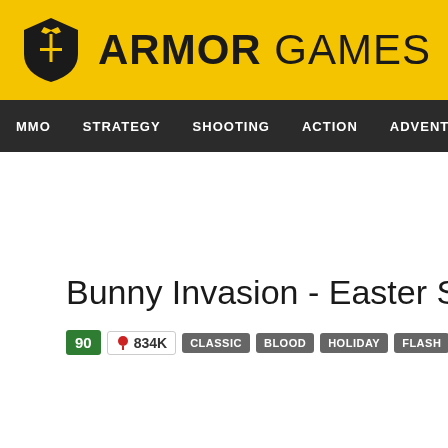ARMOR GAMES
MMO | STRATEGY | SHOOTING | ACTION | ADVENTURE | P
Bunny Invasion - Easter Special
90  834K  CLASSIC  BLOOD  HOLIDAY  FLASH  ANIMAL